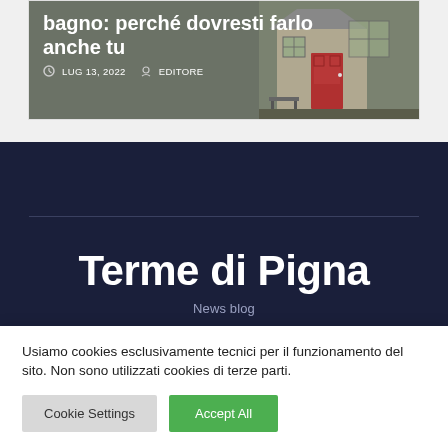bagno: perché dovresti farlo anche tu
LUG 13, 2022   EDITORE
[Figure (illustration): Illustration of a house exterior with a red door, window, and bench in muted grey-green tones]
Terme di Pigna
News blog
Usiamo cookies esclusivamente tecnici per il funzionamento del sito. Non sono utilizzati cookies di terze parti.